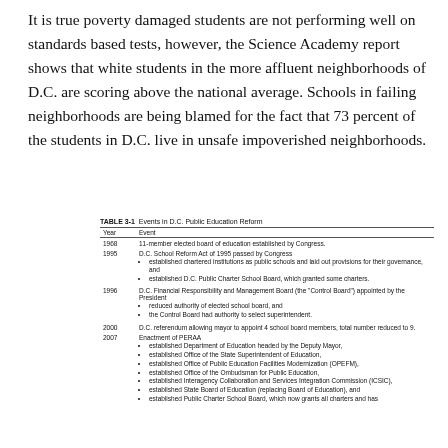But that won't help if he has nothing to eat.
It is true poverty damaged students are not performing well on standards based tests, however, the Science Academy report shows that white students in the more affluent neighborhoods of D.C. are scoring above the national average. Schools in failing neighborhoods are being blamed for the fact that 73 percent of the students in D.C. live in unsafe impoverished neighborhoods.
TABLE 3-1  Events in D.C. Public Education Reform
| Year | Event |
| --- | --- |
| 1968 | 11-member elected board of education established by Congress. |
| 1995 | D.C. School Reform Act of 1995 passed by Congress
• established chartered institutions as public schools and laid out provisions for their governance, and
• established D.C. Public Charter School Board, which granted some charters. |
| 1996 | D.C. Financial Responsibility and Management Board (the "Control Board") appointed by the President
• reduced authority of elected school board, and
• the Control Board had authority to select superintendent. |
| 2000 | D.C. referendum allowing mayor to appoint 4 school board members, total number reduced to 9. |
| 2007 | Enactment of PERAA
• established Department of Education headed by the Deputy Mayor,
• established Office of the State Superintendent of Education,
• established Office of Public Education Facilities Modernization (OPEFM),
• established Office of the Ombudsman for Public Education,
• established Interagency Collaboration and Services Integration Commission (ICSIC),
• established State Board of Education (replacing Board of Education), and
• established Public Charter School Board, which now grants all charters and has |